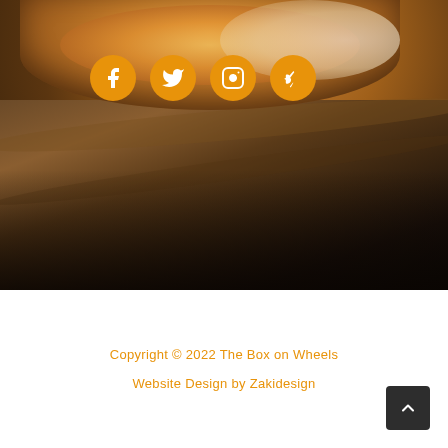[Figure (photo): Food photo background showing a golden-brown bread/pretzel on a dark wooden cutting board, with warm amber and dark tones. Four orange circular social media icons overlaid on top-left: Facebook, Twitter, Instagram, Yelp.]
Copyright © 2022 The Box on Wheels
Website Design by Zakidesign